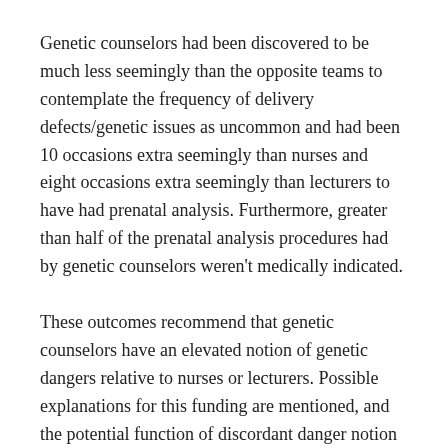Genetic counselors had been discovered to be much less seemingly than the opposite teams to contemplate the frequency of delivery defects/genetic issues as uncommon and had been 10 occasions extra seemingly than nurses and eight occasions extra seemingly than lecturers to have had prenatal analysis. Furthermore, greater than half of the prenatal analysis procedures had by genetic counselors weren't medically indicated.
These outcomes recommend that genetic counselors have an elevated notion of genetic dangers relative to nurses or lecturers. Possible explanations for this funding are mentioned, and the potential function of discordant danger notion in creating biases in genetic counseling